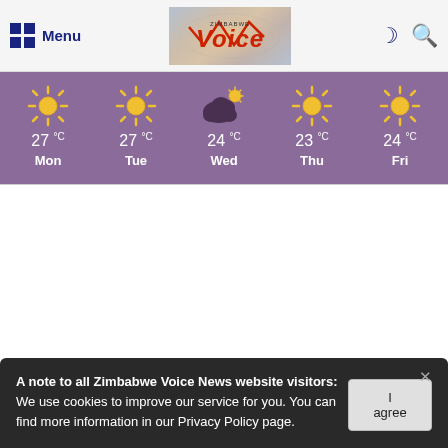Menu | Zimbabwe Voice logo | dark-mode icon | search icon
[Figure (infographic): 5-day weather forecast bar showing Mon 27°C (sunny), Tue 27°C (sunny), Wed 24°C (partly cloudy), Thu 23°C (sunny), Fri 24°C (sunny) on purple background]
A note to all Zimbabwe Voice News website visitors:
We use cookies to improve our service for you. You can find more information in our Privacy Policy page.